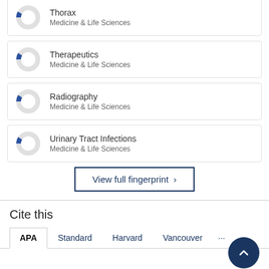[Figure (donut-chart): Small donut chart with blue slice, labeled Medicine & Life Sciences]
Thorax
Medicine & Life Sciences
[Figure (donut-chart): Small donut chart with blue slice, labeled Medicine & Life Sciences]
Therapeutics
Medicine & Life Sciences
[Figure (donut-chart): Small donut chart with blue slice, labeled Medicine & Life Sciences]
Radiography
Medicine & Life Sciences
[Figure (donut-chart): Small donut chart with blue slice, labeled Medicine & Life Sciences]
Urinary Tract Infections
Medicine & Life Sciences
View full fingerprint >
Cite this
APA  Standard  Harvard  Vancouver  ...